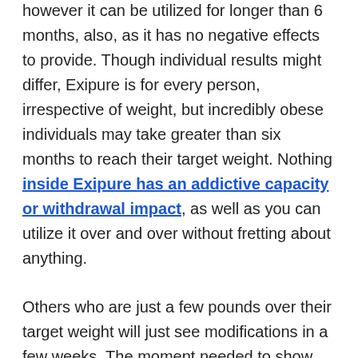however it can be utilized for longer than 6 months, also, as it has no negative effects to provide. Though individual results might differ, Exipure is for every person, irrespective of weight, but incredibly obese individuals may take greater than six months to reach their target weight. Nothing inside Exipure has an addictive capacity or withdrawal impact, as well as you can utilize it over and over without fretting about anything.
Others who are just a few pounds over their target weight will just see modifications in a few weeks. The moment needed to show the results depends upon the body's capability to reply to various ingredients, and also no two bodies share the very same functions. Do not utilize Exipure if you are uncertain concerning its use, or talk with a